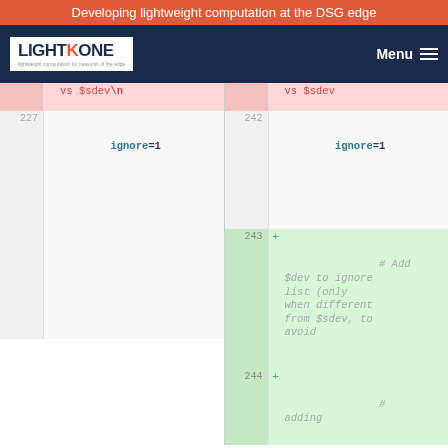Developing lightweight computation at the DSG edge
[Figure (logo): LightKone logo with navigation menu]
vs $sdev\n ... ignore=1   |   vs $sdev ... ignore=1
227   [code block: ignore=1]   |   242 [code block: ignore=1]
243 + [empty line]   244 + [comment: # Add $dev to ignore list (only when different from $sdev, to avoid ... # adding]